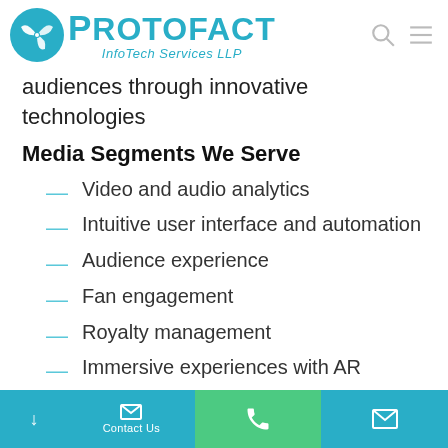Protofact InfoTech Services LLP
audiences through innovative technologies
Media Segments We Serve
Video and audio analytics
Intuitive user interface and automation
Audience experience
Fan engagement
Royalty management
Immersive experiences with AR and VR
Contact Us